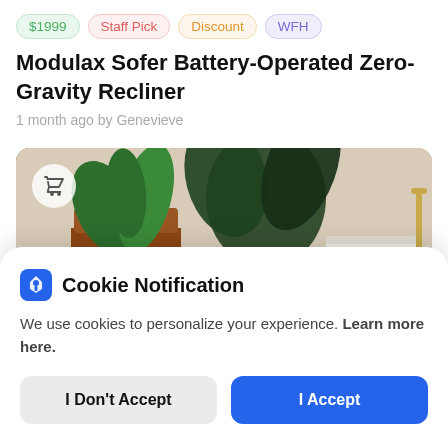$1999 | Staff Pick | Discount | WFH
Modulax Sofer Battery-Operated Zero-Gravity Recliner
1 month ago by Genevieve
[Figure (photo): Product photo showing potted plants and a white appliance on a wooden surface with gold fixtures in the background. A shopping cart icon appears in the top-left corner.]
Cookie Notification
We use cookies to personalize your experience. Learn more here.
I Don't Accept | I Accept